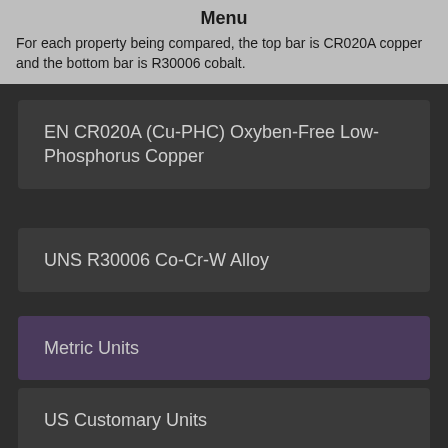Menu
For each property being compared, the top bar is CR020A copper and the bottom bar is R30006 cobalt.
EN CR020A (Cu-PHC) Oxyben-Free Low-Phosphorus Copper
UNS R30006 Co-Cr-W Alloy
Metric Units
US Customary Units